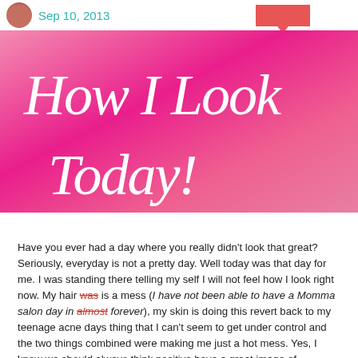Sep 10, 2013
[Figure (illustration): Pink gradient banner with large italic white text reading 'How I Look Today!']
Have you ever had a day where you really didn't look that great? Seriously, everyday is not a pretty day. Well today was that day for me. I was standing there telling my self I will not feel how I look right now. My hair was is a mess (I have not been able to have a Momma salon day in almost forever), my skin is doing this revert back to my teenage acne days thing that I can't seem to get under control and the two things combined were making me just a hot mess. Yes, I know we should always think positive have a great image of ourselves but in reality today was just Eh. I didn't feel pretty and from what I saw I didn't